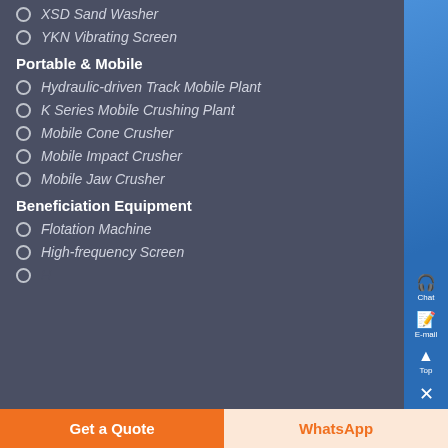XSD Sand Washer
YKN Vibrating Screen
Portable & Mobile
Hydraulic-driven Track Mobile Plant
K Series Mobile Crushing Plant
Mobile Cone Crusher
Mobile Impact Crusher
Mobile Jaw Crusher
Beneficiation Equipment
Flotation Machine
High-frequency Screen